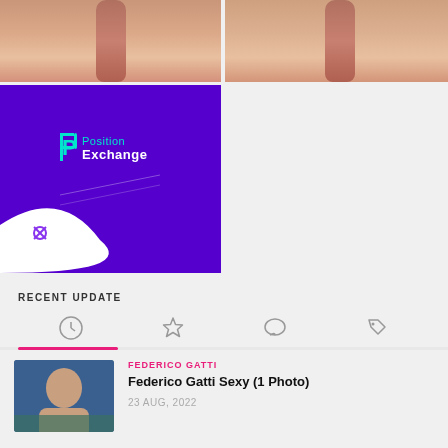[Figure (photo): Two side-by-side close-up face photos, top portion cropped]
[Figure (logo): Position Exchange advertisement with purple background and logo]
RECENT UPDATE
[Figure (infographic): Tab navigation row with clock, star, chat, and tag icons]
[Figure (photo): Thumbnail photo of Federico Gatti]
FEDERICO GATTI
Federico Gatti Sexy (1 Photo)
23 AUG, 2022